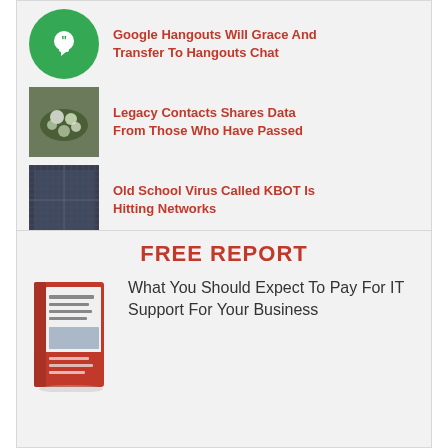Google Hangouts Will Grace And Transfer To Hangouts Chat
Legacy Contacts Shares Data From Those Who Have Passed
Old School Virus Called KBOT Is Hitting Networks
FREE REPORT
What You Should Expect To Pay For IT Support For Your Business